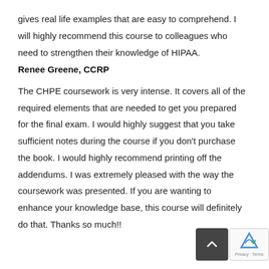gives real life examples that are easy to comprehend. I will highly recommend this course to colleagues who need to strengthen their knowledge of HIPAA.
Renee Greene, CCRP
The CHPE coursework is very intense. It covers all of the required elements that are needed to get you prepared for the final exam. I would highly suggest that you take sufficient notes during the course if you don't purchase the book. I would highly recommend printing off the addendums. I was extremely pleased with the way the coursework was presented. If you are wanting to enhance your knowledge base, this course will definitely do that. Thanks so much!!